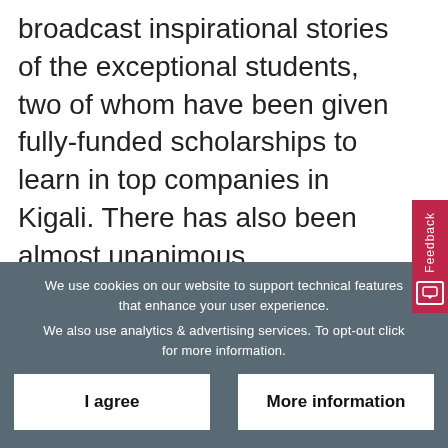broadcast inspirational stories of the exceptional students, two of whom have been given fully-funded scholarships to learn in top companies in Kigali. There has also been almost unanimous improvements in healthy eating amongst the students, and malnutrition and poor sanitation rates have dropped from 35% to only 7%.
We use cookies on our website to support technical features that enhance your user experience.
We also use analytics & advertising services. To opt-out click for more information.
I agree
More information